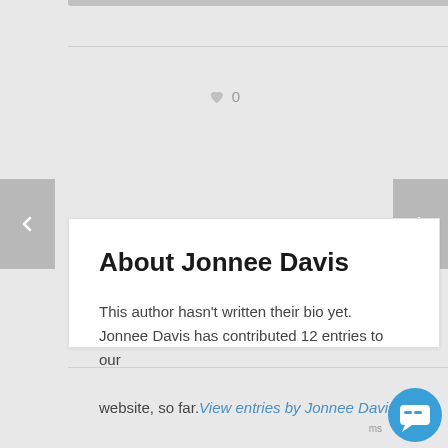[Figure (other): Like/heart icon with count 0]
About Jonnee Davis
This author hasn't written their bio yet. Jonnee Davis has contributed 12 entries to our website, so far.View entries by Jonnee Davis
[Figure (other): Chat/messaging floating button icon in blue circle]